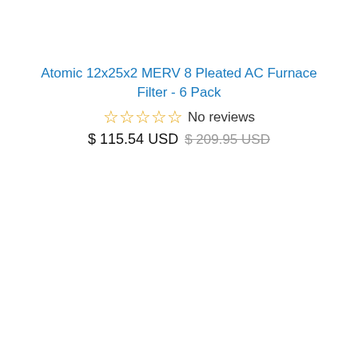Atomic 12x25x2 MERV 8 Pleated AC Furnace Filter - 6 Pack
☆☆☆☆☆ No reviews
$ 115.54 USD $ 209.95 USD